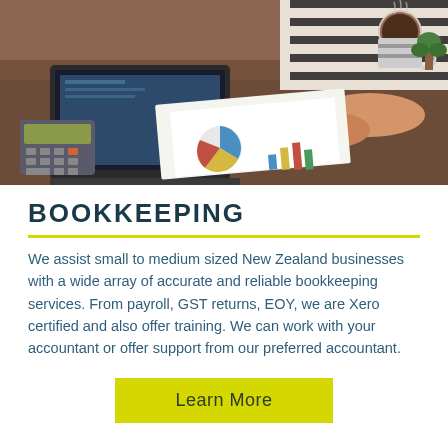[Figure (photo): Woman's hands working at a desk with a laptop, calculator, pen, and financial charts/reports. Coffee cup and plant visible in background.]
BOOKKEEPING
We assist small to medium sized New Zealand businesses with a wide array of accurate and reliable bookkeeping services. From payroll, GST returns, EOY, we are Xero certified and also offer training. We can work with your accountant or offer support from our preferred accountant.
Learn More